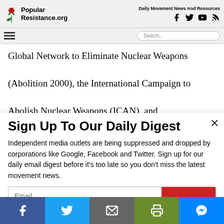Popular Resistance.org — Daily Movement News And Resources
Global Network to Eliminate Nuclear Weapons (Abolition 2000), the International Campaign to Abolish Nuclear Weapons (ICAN), and
Sign Up To Our Daily Digest
Independent media outlets are being suppressed and dropped by corporations like Google, Facebook and Twitter. Sign up for our daily email digest before it's too late so you don't miss the latest movement news.
Email [input field]
Social share bar: Facebook, Twitter, Email, Print, Messenger